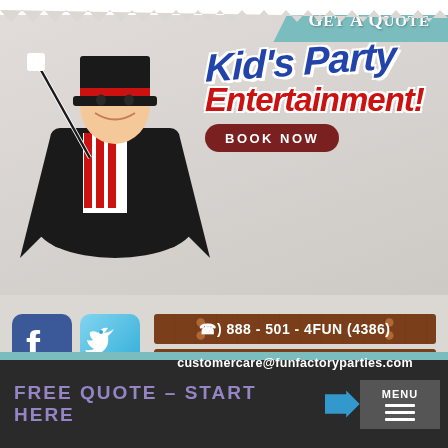[Figure (illustration): Child dressed as magician in black cape with red stripes, holding a magic wand and wearing a top hat]
Kid's Party Entertainment!
Get A Quote
BOOK NOW
[Figure (logo): Facebook icon - blue rounded square with white letter f]
[Figure (logo): Twitter icon - light blue rounded square with white bird]
(☎)) 888 - 501 - 4FUN (4386)
customercare@funfactoryparties.com
FREE QUOTE – START HERE →
MENU